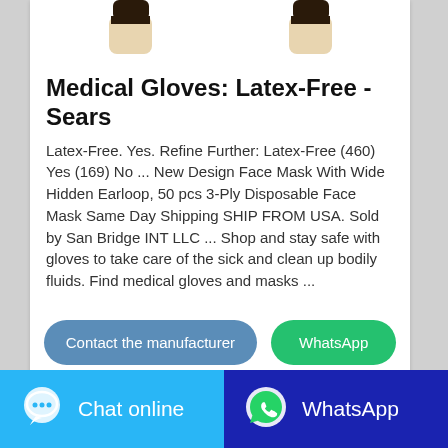[Figure (photo): Two medical gloves displayed side by side, partially cropped at top]
Medical Gloves: Latex-Free - Sears
Latex-Free. Yes. Refine Further: Latex-Free (460) Yes (169) No ... New Design Face Mask With Wide Hidden Earloop, 50 pcs 3-Ply Disposable Face Mask Same Day Shipping SHIP FROM USA. Sold by San Bridge INT LLC ... Shop and stay safe with gloves to take care of the sick and clean up bodily fluids. Find medical gloves and masks ...
[Figure (screenshot): Two buttons: 'Contact the manufacturer' (blue) and 'WhatsApp' (green)]
[Figure (screenshot): Footer bar with 'Chat online' button (light blue) and 'WhatsApp' button (dark blue)]